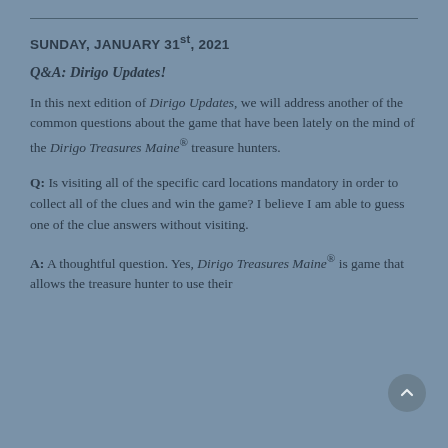SUNDAY, JANUARY 31st, 2021
Q&A: Dirigo Updates!
In this next edition of Dirigo Updates, we will address another of the common questions about the game that have been lately on the mind of the Dirigo Treasures Maine® treasure hunters.
Q: Is visiting all of the specific card locations mandatory in order to collect all of the clues and win the game? I believe I am able to guess one of the clue answers without visiting.
A: A thoughtful question. Yes, Dirigo Treasures Maine® is game that allows the treasure hunter to use their